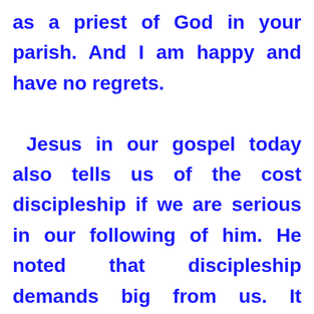as a priest of God in your parish. And I am happy and have no regrets. Jesus in our gospel today also tells us of the cost discipleship if we are serious in our following of him. He noted that discipleship demands big from us. It entails total dedication and commitment to him even to the extent of making him our first priority over our families and